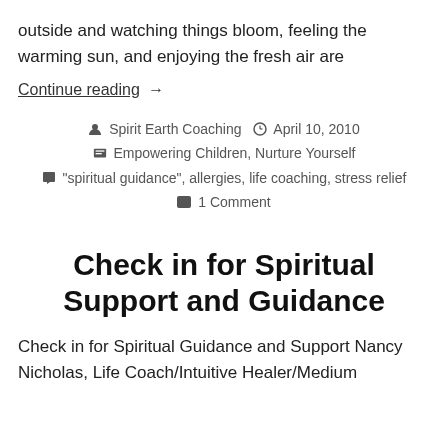outside and watching things bloom, feeling the warming sun, and enjoying the fresh air are
Continue reading  →
Spirit Earth Coaching  April 10, 2010  Empowering Children, Nurture Yourself  "spiritual guidance", allergies, life coaching, stress relief  1 Comment
Check in for Spiritual Support and Guidance
Check in for Spiritual Guidance and Support Nancy Nicholas, Life Coach/Intuitive Healer/Medium